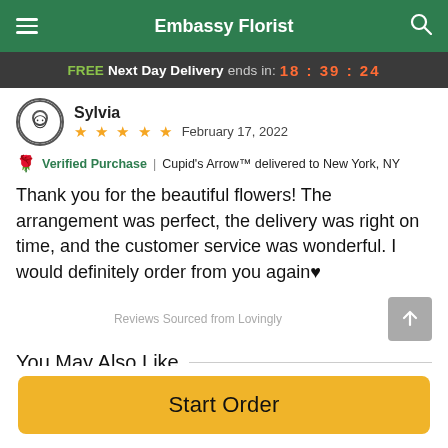Embassy Florist
FREE Next Day Delivery ends in: 18:39:24
Sylvia
★★★★★  February 17, 2022
Verified Purchase | Cupid's Arrow™ delivered to New York, NY
Thank you for the beautiful flowers! The arrangement was perfect, the delivery was right on time, and the customer service was wonderful. I would definitely order from you again♥
Reviews Sourced from Lovingly
You May Also Like
Start Order